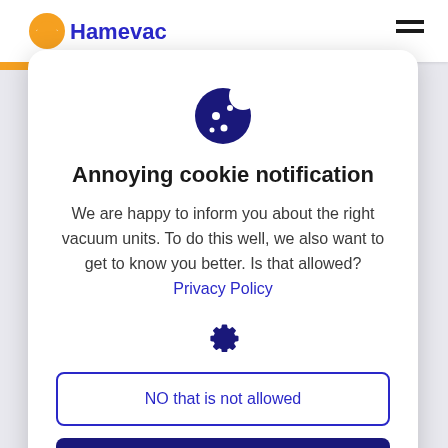Hamevac (logo + hamburger menu)
[Figure (screenshot): Cookie consent modal dialog with cookie icon, title, body text, privacy policy link, gear icon, and two buttons (NO and YES)]
Annoying cookie notification
We are happy to inform you about the right vacuum units. To do this well, we also want to get to know you better. Is that allowed?
Privacy Policy
NO that is not allowed
YES, that is allowed
party claims due to